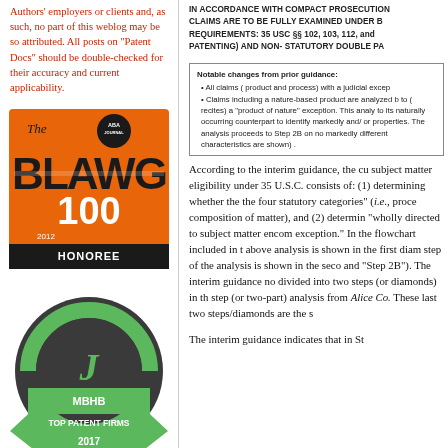Authors' employers or clients and, as such, no part of this weblog may be so attributed. All posts on "Patent Docs" should be double-checked for their accuracy and current applicability.
[Figure (logo): ABA Journal Blawg 100 Honoree badge, orange and black, 2012]
[Figure (logo): MBHB Top Patent Firms 2017 circular badge, dark gray and green]
IN ACCORDANCE WITH COMPACT PROSECUTION CLAIMS ARE TO BE FULLY EXAMINED UNDER B REQUIREMENTS: 35 USC §§ 102, 103, 112, and PATENTING) AND NON- STATUTORY DOUBLE PA
Notable changes from prior guidance:
• All claims ( product and process) with a judicial excep
• Claims including a nature-based product are analyzed b to ( recites) a "product of nature" exception. This analy to its naturally occurring counterpart to identify markedly and/ or properties. The analysis proceeds to Step 2B on no markedly different characteristics are shown) .
According to the interim guidance, the cu subject matter eligibility under 35 U.S.C. consists of: (1) determining whether the the four statutory categories" (i.e., proce composition of matter), and (2) determin "wholly directed to subject matter encom exception." In the flowchart included in t above analysis is shown in the first diam step of the analysis is shown in the seco and "Step 2B"). The interim guidance no divided into two steps (or diamonds) in th step (or two-part) analysis from Alice Co. These last two steps/diamonds are the s
The interim guidance indicates that in St